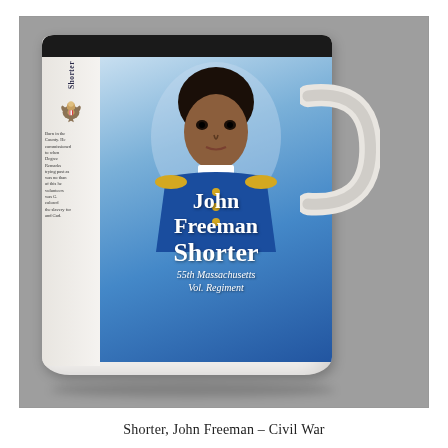[Figure (photo): A ceramic coffee mug featuring a portrait of John Freeman Shorter in a blue Union Army officer's uniform with gold buttons and epaulettes. The mug shows his name and regiment '55th Massachusetts Vol. Regiment' printed on it. The mug has a black rim, white handle, and a side panel with text and an eagle emblem. The background is gray.]
Shorter, John Freeman – Civil War